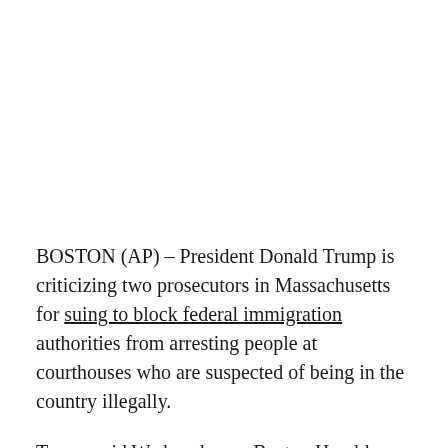BOSTON (AP) – President Donald Trump is criticizing two prosecutors in Massachusetts for suing to block federal immigration authorities from arresting people at courthouses who are suspected of being in the country illegally.
Trump said Wednesday on Boston Herald Radio that "these are people that probably don't mind crime." He was referring to the district attorneys for Suffolk